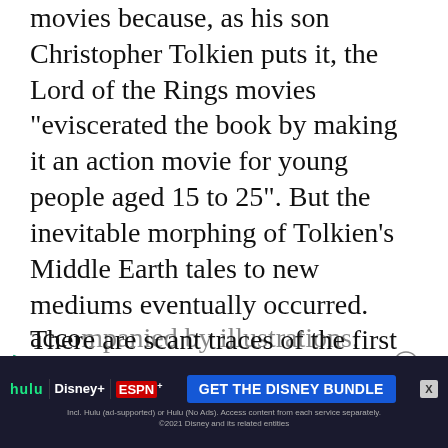movies because, as his son Christopher Tolkien puts it, the Lord of the Rings movies “eviscerated the book by making it an action movie for young people aged 15 to 25”. But the inevitable morphing of Tolkien’s Middle Earth tales to new mediums eventually occurred. There are scant traces of the first official Hobbit adaptation, a 1953 stage production by the St. Margaret’s School, Edinburgh. One we do have glimpses of (and one of the more bizarre examples) is a graphic retelling for Princess, a British teen girl magazine, serialized in 1964. The story was abridged, broken into 15 installments, and acco… son.
[Figure (other): Advertisement banner for Disney Bundle (Hulu, Disney+, ESPN+) with blue CTA button 'GET THE DISNEY BUNDLE' and fine print about access terms.]